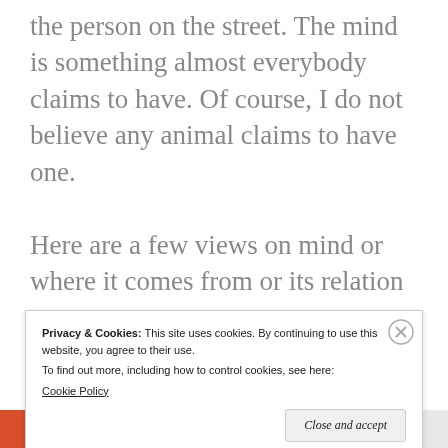the person on the street. The mind is something almost everybody claims to have. Of course, I do not believe any animal claims to have one.
Here are a few views on mind or where it comes from or its relation
Privacy & Cookies: This site uses cookies. By continuing to use this website, you agree to their use. To find out more, including how to control cookies, see here: Cookie Policy
Close and accept